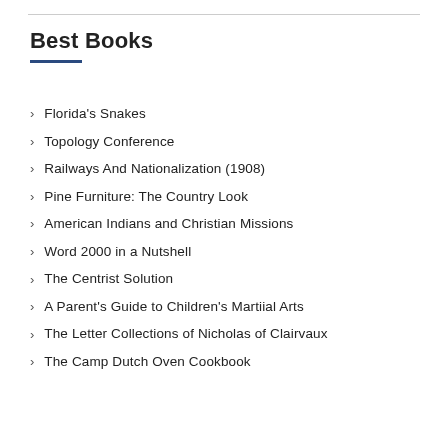Best Books
Florida's Snakes
Topology Conference
Railways And Nationalization (1908)
Pine Furniture: The Country Look
American Indians and Christian Missions
Word 2000 in a Nutshell
The Centrist Solution
A Parent's Guide to Children's Martiial Arts
The Letter Collections of Nicholas of Clairvaux
The Camp Dutch Oven Cookbook